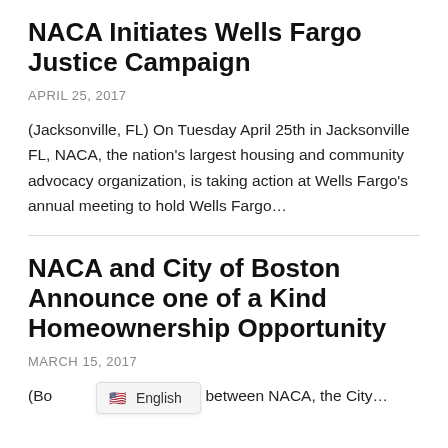NACA Initiates Wells Fargo Justice Campaign
APRIL 25, 2017
(Jacksonville, FL) On Tuesday April 25th in Jacksonville FL, NACA, the nation's largest housing and community advocacy organization, is taking action at Wells Fargo's annual meeting to hold Wells Fargo...
NACA and City of Boston Announce one of a Kind Homeownership Opportunity
MARCH 15, 2017
(Bo... ew partnership between NACA, the City...